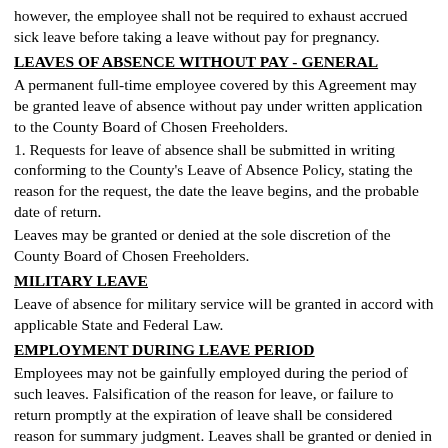however, the employee shall not be required to exhaust accrued sick leave before taking a leave without pay for pregnancy.
LEAVES OF ABSENCE WITHOUT PAY - GENERAL
A permanent full-time employee covered by this Agreement may be granted leave of absence without pay under written application to the County Board of Chosen Freeholders.
1. Requests for leave of absence shall be submitted in writing conforming to the County's Leave of Absence Policy, stating the reason for the request, the date the leave begins, and the probable date of return.
Leaves may be granted or denied at the sole discretion of the County Board of Chosen Freeholders.
MILITARY LEAVE
Leave of absence for military service will be granted in accord with applicable State and Federal Law.
EMPLOYMENT DURING LEAVE PERIOD
Employees may not be gainfully employed during the period of such leaves. Falsification of the reason for leave, or failure to return promptly at the expiration of leave shall be considered reason for summary judgment. Leaves shall be granted or denied in writing.